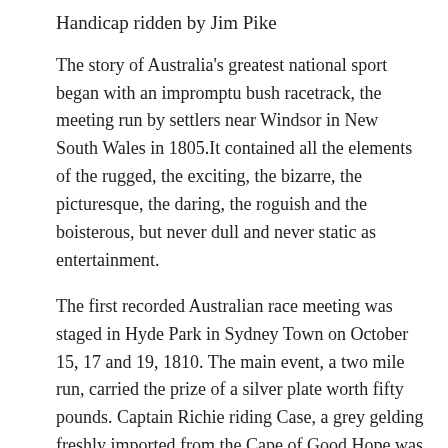Handicap ridden by Jim Pike
The story of Australia's greatest national sport began with an impromptu bush racetrack, the meeting run by settlers near Windsor in New South Wales in 1805.It contained all the elements of the rugged, the exciting, the bizarre, the picturesque, the daring, the roguish and the boisterous, but never dull and never static as entertainment.
The first recorded Australian race meeting was staged in Hyde Park in Sydney Town on October 15, 17 and 19, 1810. The main event, a two mile run, carried the prize of a silver plate worth fifty pounds. Captain Richie riding Case, a grey gelding freshly imported from the Cape of Good Hope was the successful contender.